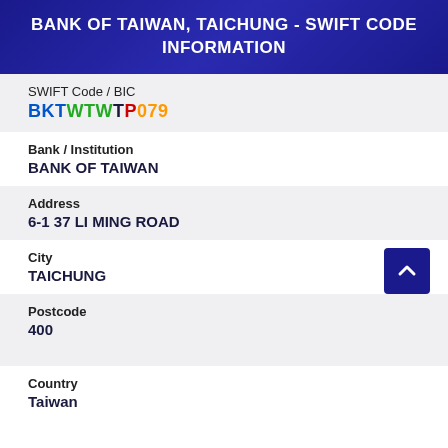BANK OF TAIWAN, TAICHUNG - SWIFT CODE INFORMATION
SWIFT Code / BIC
BKTWTWTPN079
Bank / Institution
BANK OF TAIWAN
Address
6-1 37 LI MING ROAD
City
TAICHUNG
Postcode
400
Country
Taiwan